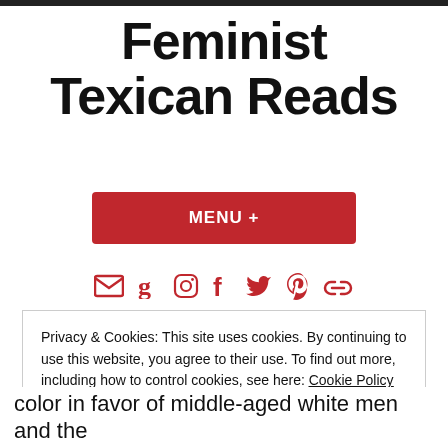Feminist Texican Reads
[Figure (other): Red MENU+ button]
[Figure (other): Social media icons: email, goodreads, instagram, facebook, twitter, pinterest, link]
Privacy & Cookies: This site uses cookies. By continuing to use this website, you agree to their use. To find out more, including how to control cookies, see here: Cookie Policy
[Figure (other): Close and accept button (red)]
color in favor of middle-aged white men and the